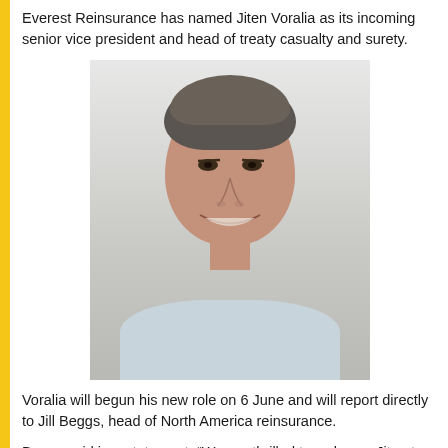Everest Reinsurance has named Jiten Voralia as its incoming senior vice president and head of treaty casualty and surety.
[Figure (photo): Professional headshot of Jiten Voralia, a middle-aged man with grey-streaked dark hair, smiling, wearing a light blue shirt against a light grey background.]
Voralia will begun his new role on 6 June and will report directly to Jill Beggs, head of North America reinsurance.
Beggs said in a statement: “We are thrilled to welcome Jiten to our Everest team. His deep technical actuarial and underwriting background combined with broad experience in the U.S. and globally brings a unique and well-rounded perspective to our treaty casualty and surety portfolio.”